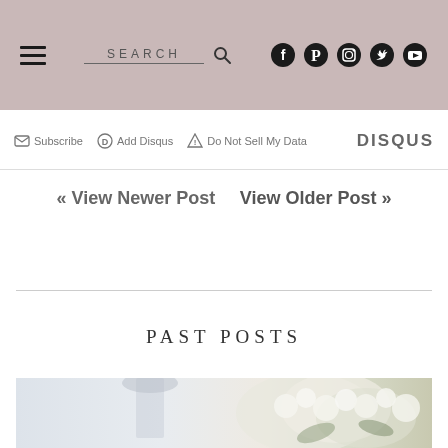SEARCH — Social icons: Facebook, Pinterest, Instagram, Twitter, YouTube
Subscribe  Add Disqus  Do Not Sell My Data  DISQUS
« View Newer Post   View Older Post »
PAST POSTS
[Figure (photo): Partial photo of a white interior scene with flowers (white hydrangeas) and a lamp, cropped at the bottom of the page]